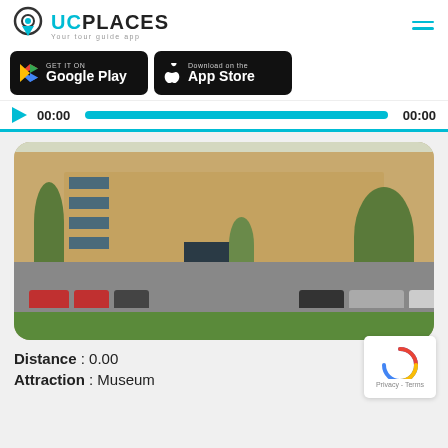[Figure (logo): UCPlaces logo with location pin icon and tagline 'Your tour guide app']
[Figure (screenshot): Google Play and Apple App Store download buttons on black background]
00:00   00:00 (audio player bar)
[Figure (photo): Exterior photo of a large sandstone museum building with trees and parked cars in front]
Distance : 0.00
Attraction : Museum